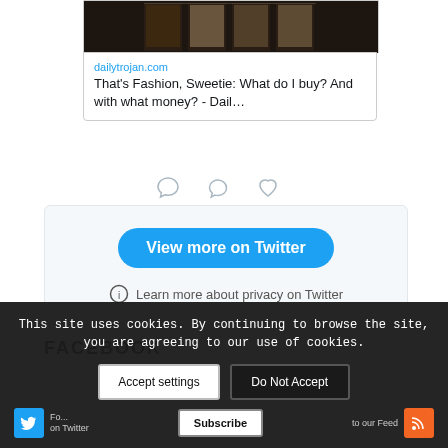[Figure (photo): Dark storefront with illuminated display windows showing fashion items, cropped at top]
dailytrojan.com
That's Fashion, Sweetie: What do I buy? And with what money? - Dail…
[Figure (other): Comment and heart/like icons below tweet]
View more on Twitter
Learn more about privacy on Twitter
FACEBOOK
This site uses cookies. By continuing to browse the site, you are agreeing to our use of cookies.
Accept settings
Do Not Accept
Subscribe